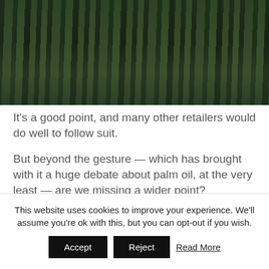[Figure (photo): Tropical palm forest photograph viewed from below, with tall dark palm tree trunks against a pale sky, dense green foliage canopy]
It's a good point, and many other retailers would do well to follow suit.
But beyond the gesture — which has brought with it a huge debate about palm oil, at the very least — are we missing a wider point?
This website uses cookies to improve your experience. We'll assume you're ok with this, but you can opt-out if you wish.